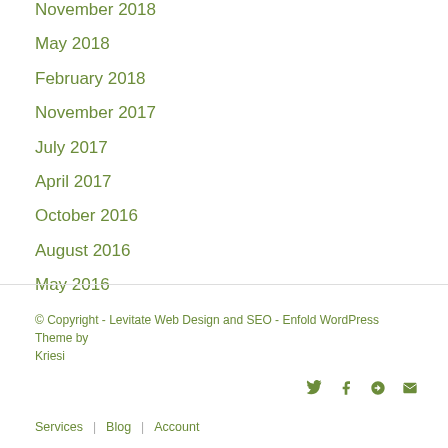November 2018
May 2018
February 2018
November 2017
July 2017
April 2017
October 2016
August 2016
May 2016
April 2016
© Copyright - Levitate Web Design and SEO - Enfold WordPress Theme by Kriesi
Services | Blog | Account